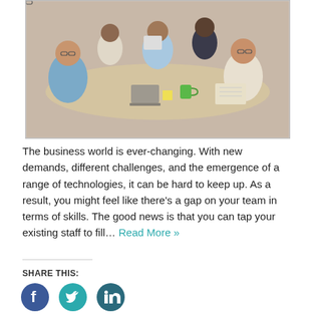[Figure (photo): Group of business professionals sitting around a conference table having a meeting, with laptops, tablets, and coffee cups visible.]
The business world is ever-changing. With new demands, different challenges, and the emergence of a range of technologies, it can be hard to keep up. As a result, you might feel like there's a gap on your team in terms of skills. The good news is that you can tap your existing staff to fill… Read More »
SHARE THIS: